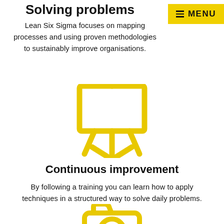Solving problems
Lean Six Sigma focuses on mapping processes and using proven methodologies to sustainably improve organisations.
[Figure (illustration): Yellow outline icon of a presentation easel/whiteboard with three legs]
Continuous improvement
By following a training you can learn how to apply techniques in a structured way to solve daily problems.
[Figure (illustration): Yellow outline icon of a camera or document with a circular lens, partially visible at the bottom]